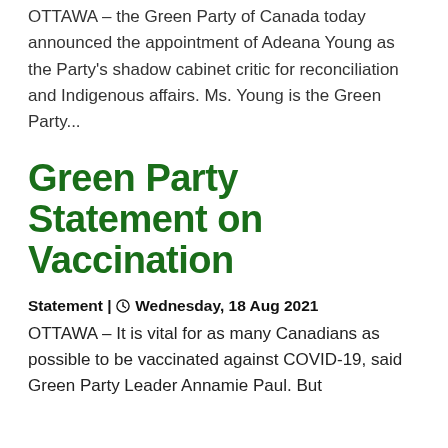OTTAWA – the Green Party of Canada today announced the appointment of Adeana Young as the Party's shadow cabinet critic for reconciliation and Indigenous affairs. Ms. Young is the Green Party...
Green Party Statement on Vaccination
Statement | Wednesday, 18 Aug 2021
OTTAWA – It is vital for as many Canadians as possible to be vaccinated against COVID-19, said Green Party Leader Annamie Paul. But